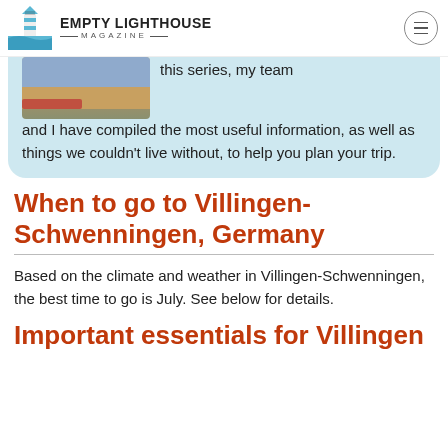EMPTY LIGHTHOUSE MAGAZINE
this series, my team and I have compiled the most useful information, as well as things we couldn't live without, to help you plan your trip.
When to go to Villingen-Schwenningen, Germany
Based on the climate and weather in Villingen-Schwenningen, the best time to go is July. See below for details.
Important essentials for Villingen